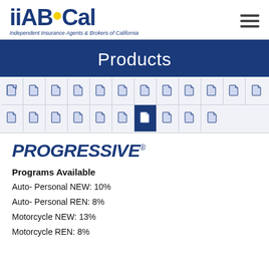[Figure (logo): IIABCal logo — Independent Insurance Agents & Brokers of California — with yellow dot between AB and Cal]
[Figure (other): Hamburger menu icon (three horizontal lines)]
Products
[Figure (other): Grid of document/file icons arranged in two rows, one icon highlighted with blue background]
[Figure (logo): Progressive insurance logo in bold italic blue text with registered trademark symbol]
Programs Available
Auto- Personal NEW: 10%
Auto- Personal REN: 8%
Motorcycle NEW: 13%
Motorcycle REN: 8%